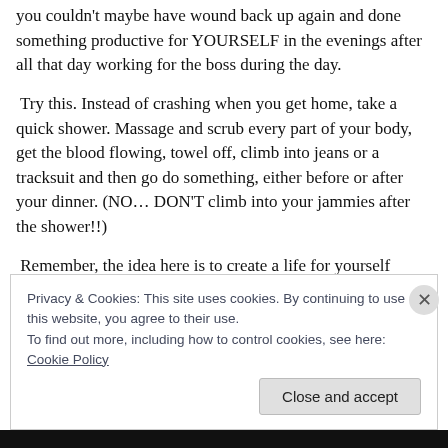you couldn't maybe have wound back up again and done something productive for YOURSELF in the evenings after all that day working for the boss during the day.
Try this. Instead of crashing when you get home, take a quick shower. Massage and scrub every part of your body, get the blood flowing, towel off, climb into jeans or a tracksuit and then go do something, either before or after your dinner. (NO… DON'T climb into your jammies after the shower!!)
Remember, the idea here is to create a life for yourself where
Privacy & Cookies: This site uses cookies. By continuing to use this website, you agree to their use.
To find out more, including how to control cookies, see here: Cookie Policy